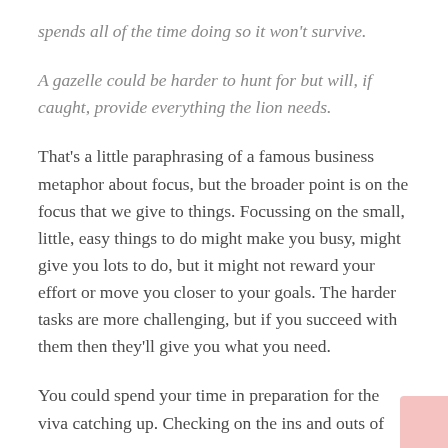spends all of the time doing so it won't survive.
A gazelle could be harder to hunt for but will, if caught, provide everything the lion needs.
That's a little paraphrasing of a famous business metaphor about focus, but the broader point is on the focus that we give to things. Focussing on the small, little, easy things to do might make you busy, might give you lots to do, but it might not reward your effort or move you closer to your goals. The harder tasks are more challenging, but if you succeed with them then they'll give you what you need.
You could spend your time in preparation for the viva catching up. Checking on the ins and outs of...